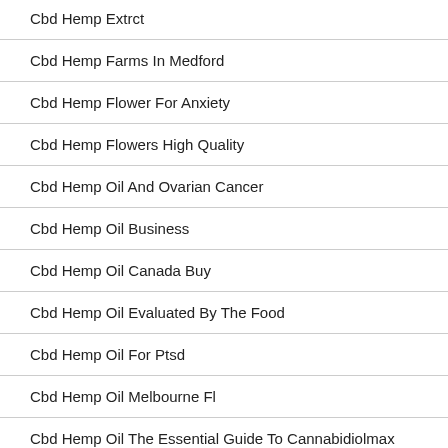Cbd Hemp Extrct
Cbd Hemp Farms In Medford
Cbd Hemp Flower For Anxiety
Cbd Hemp Flowers High Quality
Cbd Hemp Oil And Ovarian Cancer
Cbd Hemp Oil Business
Cbd Hemp Oil Canada Buy
Cbd Hemp Oil Evaluated By The Food
Cbd Hemp Oil For Ptsd
Cbd Hemp Oil Melbourne Fl
Cbd Hemp Oil The Essential Guide To Cannabidiolmax Burton 2017